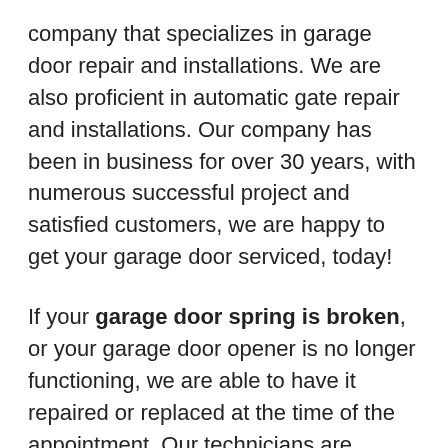company that specializes in garage door repair and installations. We are also proficient in automatic gate repair and installations. Our company has been in business for over 30 years, with numerous successful project and satisfied customers, we are happy to get your garage door serviced, today!
If your garage door spring is broken, or your garage door opener is no longer functioning, we are able to have it repaired or replaced at the time of the appointment. Our technicians are experienced and ready with all the parts on the truck.
So if you're looking for top of the line garage door